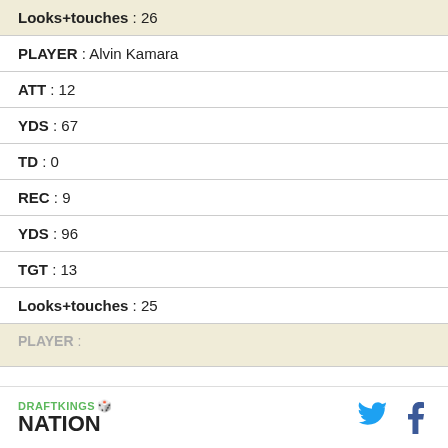Looks+touches : 26
PLAYER : Alvin Kamara
ATT : 12
YDS : 67
TD : 0
REC : 9
YDS : 96
TGT : 13
Looks+touches : 25
PLAYER :
DRAFTKINGS NATION